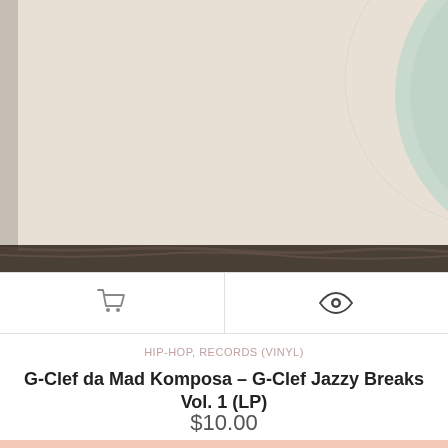[Figure (photo): Photo of a vinyl record / LP album with a pale green label on a beige/off-white record sleeve, photographed on a dark surface.]
HIP-HOP, RECORDS (VINYL)
G-Clef da Mad Komposa – G-Clef Jazzy Breaks Vol. 1 (LP)
$10.00